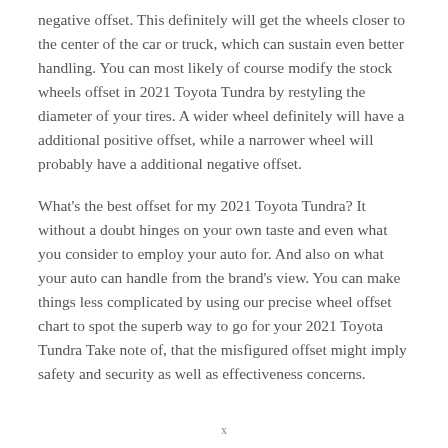negative offset. This definitely will get the wheels closer to the center of the car or truck, which can sustain even better handling. You can most likely of course modify the stock wheels offset in 2021 Toyota Tundra by restyling the diameter of your tires. A wider wheel definitely will have a additional positive offset, while a narrower wheel will probably have a additional negative offset.
What's the best offset for my 2021 Toyota Tundra? It without a doubt hinges on your own taste and even what you consider to employ your auto for. And also on what your auto can handle from the brand's view. You can make things less complicated by using our precise wheel offset chart to spot the superb way to go for your 2021 Toyota Tundra Take note of, that the misfigured offset might imply safety and security as well as effectiveness concerns.
x